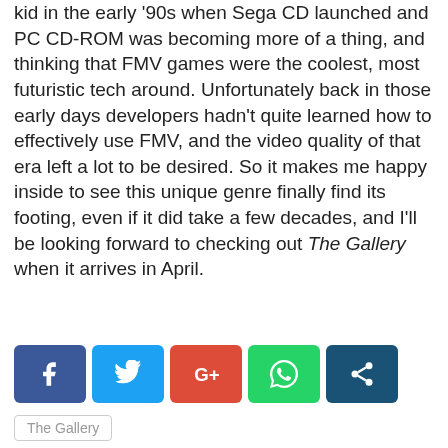kid in the early '90s when Sega CD launched and PC CD-ROM was becoming more of a thing, and thinking that FMV games were the coolest, most futuristic tech around. Unfortunately back in those early days developers hadn't quite learned how to effectively use FMV, and the video quality of that era left a lot to be desired. So it makes me happy inside to see this unique genre finally find its footing, even if it did take a few decades, and I'll be looking forward to checking out The Gallery when it arrives in April.
[Figure (other): Social share buttons row: Facebook (blue), Twitter (light blue), Google+ (red), WhatsApp (green), generic share (dark teal)]
The Gallery
[Figure (photo): A dark blue-gray banner image with a rounded rectangle inset showing a person's upper body/face silhouette against a dark background]